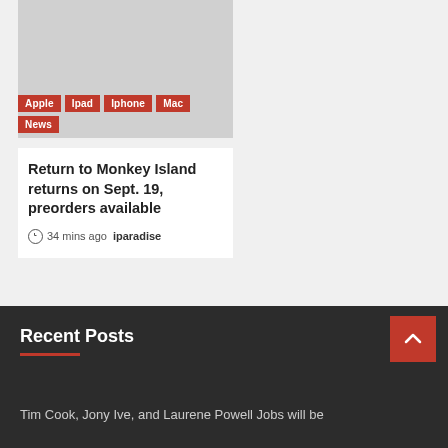[Figure (photo): Gray placeholder image for article thumbnail]
Apple  Ipad  Iphone  Mac  News
Return to Monkey Island returns on Sept. 19, preorders available
34 mins ago  iparadise
Recent Posts
Tim Cook, Jony Ive, and Laurene Powell Jobs will be